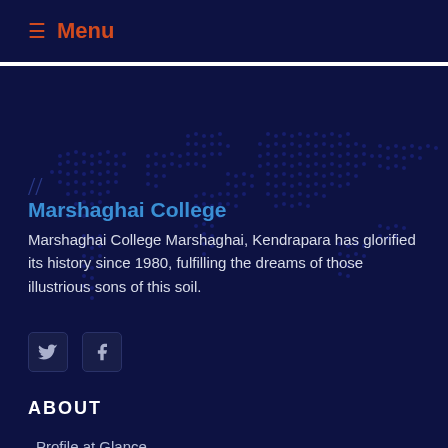≡ Menu
Marshaghai College
Marshaghai College Marshaghai, Kendrapara has glorified its history since 1980, fulfilling the dreams of those illustrious sons of this soil.
[Figure (illustration): Social media icons: Twitter and Facebook buttons]
ABOUT
Profile at Glance
Infrastructure